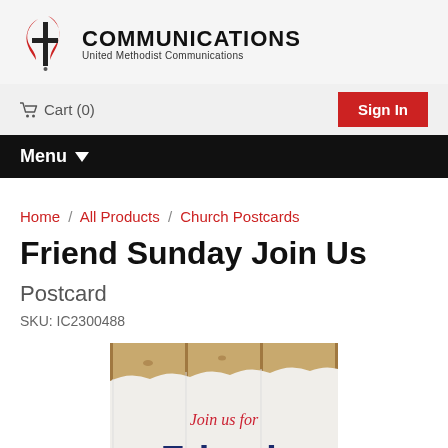[Figure (logo): United Methodist Communications logo with red cross/flame symbol and bold black COMMUNICATIONS text, with 'United Methodist Communications' subtitle]
Cart (0)   Sign In
Menu
Home / All Products / Church Postcards
Friend Sunday Join Us Postcard
SKU: IC2300488
[Figure (photo): Product photo of a postcard with rustic wooden plank background showing 'Join us for Friend' text in red cursive and dark blue bold lettering]